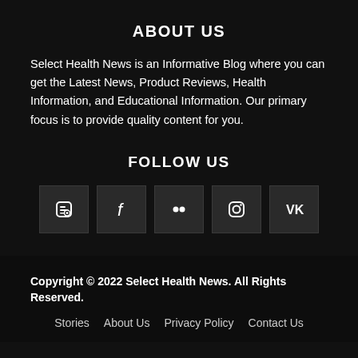ABOUT US
Select Health News is an Informative Blog where you can get the Latest News, Product Reviews, Health Information, and Educational Information. Our primary focus is to provide quality content for you.
FOLLOW US
[Figure (infographic): Row of 5 social media icon buttons: Blogger (B), Facebook (f), Flickr (two dots), Instagram (camera), VK (VK logo)]
Copyright © 2022 Select Health News. All Rights Reserved.
Stories   About Us   Privacy Policy   Contact Us